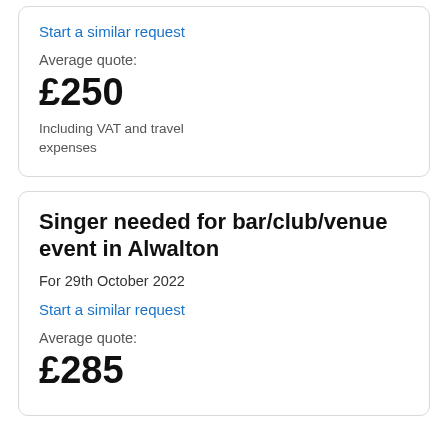Start a similar request
Average quote:
£250
Including VAT and travel expenses
Singer needed for bar/club/venue event in Alwalton
For 29th October 2022
Start a similar request
Average quote:
£285